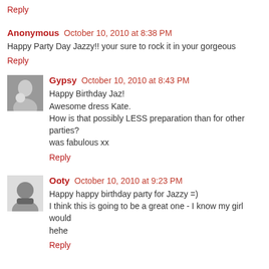Reply
Anonymous October 10, 2010 at 8:38 PM
Happy Party Day Jazzy!! your sure to rock it in your gorgeous
Reply
Gypsy October 10, 2010 at 8:43 PM
Happy Birthday Jaz!
Awesome dress Kate.
How is that possibly LESS preparation than for other parties?
was fabulous xx
Reply
Ooty October 10, 2010 at 9:23 PM
Happy happy birthday party for Jazzy =)
I think this is going to be a great one - I know my girl would
hehe
Reply